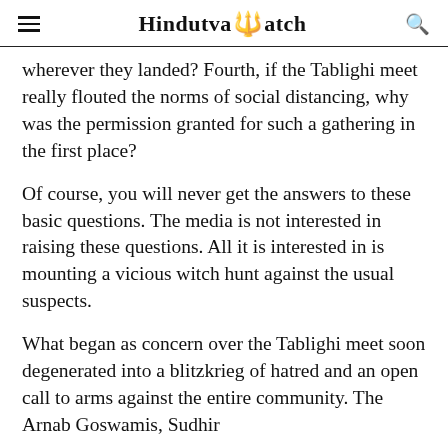Hindutva Watch
wherever they landed? Fourth, if the Tablighi meet really flouted the norms of social distancing, why was the permission granted for such a gathering in the first place?
Of course, you will never get the answers to these basic questions. The media is not interested in raising these questions. All it is interested in is mounting a vicious witch hunt against the usual suspects.
What began as concern over the Tablighi meet soon degenerated into a blitzkrieg of hatred and an open call to arms against the entire community. The Arnab Goswamis, Sudhir